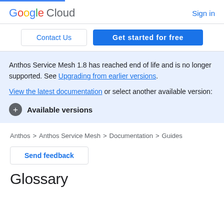[Figure (logo): Google Cloud logo with colorful Google letters and grey Cloud text]
Sign in
Contact Us
Get started for free
Anthos Service Mesh 1.8 has reached end of life and is no longer supported. See Upgrading from earlier versions. View the latest documentation or select another available version:
Available versions
Anthos > Anthos Service Mesh > Documentation > Guides
Send feedback
Glossary